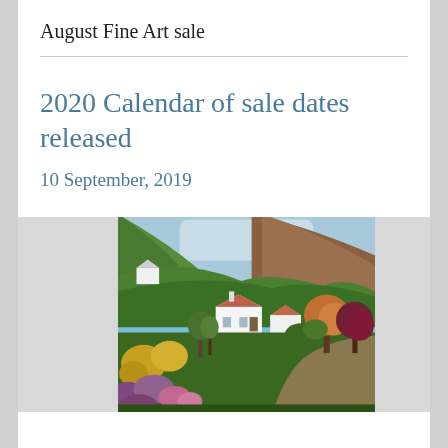August Fine Art sale
2020 Calendar of sale dates released
10 September, 2019
[Figure (photo): A painting of a rural landscape with white cottages with red/terracotta roofs nestled in a valley, surrounded by green hills, colourful flowering shrubs in foreground (purple, yellow), and autumn-coloured trees (orange, red, brown). Blue-grey sky. Painting displayed on a light grey/linen background visible on left and right sides.]